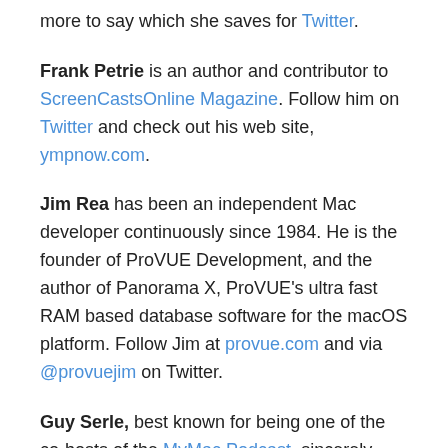more to say which she saves for Twitter.
Frank Petrie is an author and contributor to ScreenCastsOnline Magazine. Follow him on Twitter and check out his web site, ympnow.com.
Jim Rea has been an independent Mac developer continuously since 1984. He is the founder of ProVUE Development, and the author of Panorama X, ProVUE’s ultra fast RAM based database software for the macOS platform. Follow Jim at provue.com and via @provuejim on Twitter.
Guy Serle, best known for being one of the co-hosts of the MyMac Podcast, sincerely apologizes for anything he has done or caused to have happened while in possession of dangerous podcasting equipment. He should know better but being a blonde from Florida means he’s probably incapable of understanding the damage he has wrought. Guy is also the